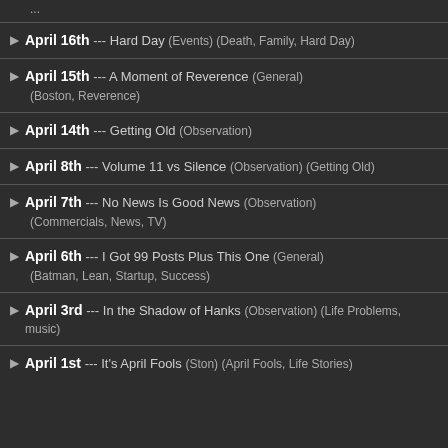April 16th --- Hard Day (Events) (Death, Family, Hard Day)
April 15th --- A Moment of Reverence (General) (Boston, Reverence)
April 14th --- Getting Old (Observation)
April 8th --- Volume 11 vs Silence (Observation) (Getting Old)
April 7th --- No News Is Good News (Observation) (Commercials, News, TV)
April 6th --- I Got 99 Posts Plus This One (General) (Batman, Lean, Startup, Success)
April 3rd --- In the Shadow of Hanks (Observation) (Life Problems, music)
April 1st --- It's April Fools (Ston) (April Fools, Life Stories)